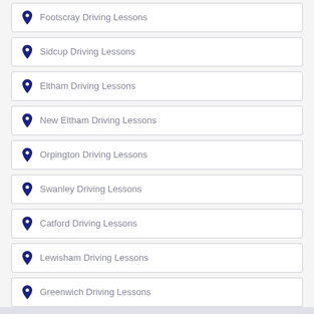Footscray Driving Lessons
Sidcup Driving Lessons
Eltham Driving Lessons
New Eltham Driving Lessons
Orpington Driving Lessons
Swanley Driving Lessons
Catford Driving Lessons
Lewisham Driving Lessons
Greenwich Driving Lessons
Blackheath Driving Lessons